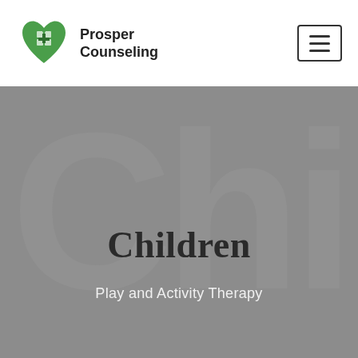[Figure (logo): Prosper Counseling logo: green heart with puzzle pieces and a cross symbol]
Prosper Counseling
[Figure (other): Hamburger menu button (three horizontal lines in a bordered rectangle)]
Children
Play and Activity Therapy